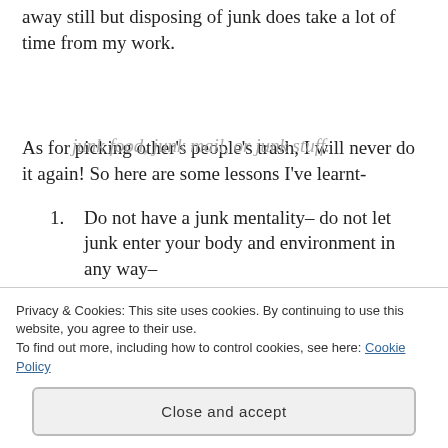away still but disposing of junk does take a lot of time from my work.
As for picking other’s people’s trash, I will never do it again!  So here are some lessons I’ve learnt-
1. Do not have a junk mentality– do not let junk enter your body and environment in any way– junk food, junk mail, or junk stuff.
Privacy & Cookies: This site uses cookies. By continuing to use this website, you agree to their use. To find out more, including how to control cookies, see here: Cookie Policy
Close and accept